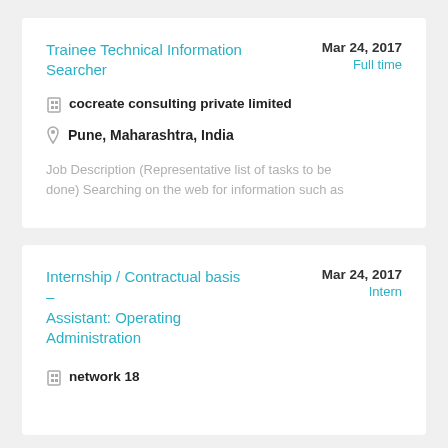Trainee Technical Information Searcher
Mar 24, 2017 Full time
cocreate consulting private limited
Pune, Maharashtra, India
Job Description (Representative list of tasks to be done) Searching on the web for information such as
Internship / Contractual basis – Assistant: Operating Administration
Mar 24, 2017 Intern
network 18